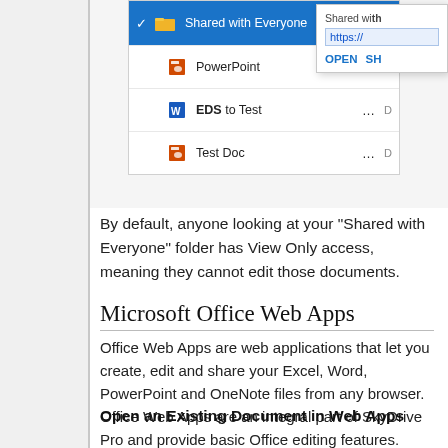[Figure (screenshot): Screenshot of a SkyDrive/OneDrive-style file browser showing 'Shared with Everyone' folder selected (highlighted in blue), with files: PowerPoint, EDS to Test (Word doc), Test Doc (PowerPoint). A popup appears on the right showing a share URL (https://) and OPEN / SH... action buttons.]
By default, anyone looking at your "Shared with Everyone" folder has View Only access, meaning they cannot edit those documents.
Microsoft Office Web Apps
Office Web Apps are web applications that let you create, edit and share your Excel, Word, PowerPoint and OneNote files from any browser. Office Web Apps are an integral part of SkyDrive Pro and provide basic Office editing features.
Open an Existing Document in Web Apps